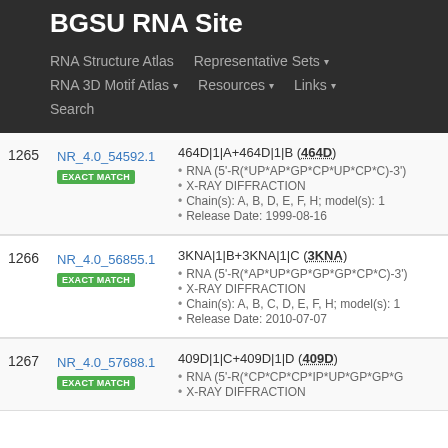BGSU RNA Site
RNA Structure Atlas   Representative Sets ▾   RNA 3D Motif Atlas ▾   Resources ▾   Links ▾   Search
| # | ID | Details |
| --- | --- | --- |
| 1265 | NR_4.0_54592.1
EXACT MATCH | 464D|1|A+464D|1|B (464D)
• RNA (5'-R(*UP*AP*GP*CP*UP*CP*C)-3')
• X-RAY DIFFRACTION
• Chain(s): A, B, D, E, F, H; model(s): 1
• Release Date: 1999-08-16 |
| 1266 | NR_4.0_56855.1
EXACT MATCH | 3KNA|1|B+3KNA|1|C (3KNA)
• RNA (5'-R(*AP*UP*GP*GP*GP*CP*C)-3')
• X-RAY DIFFRACTION
• Chain(s): A, B, C, D, E, F, H; model(s): 1
• Release Date: 2010-07-07 |
| 1267 | NR_4.0_57688.1
EXACT MATCH | 409D|1|C+409D|1|D (409D)
• RNA (5'-R(*CP*CP*CP*IP*UP*GP*GP*G)
• X-RAY DIFFRACTION |